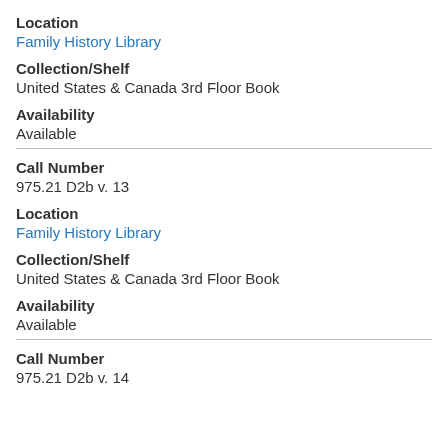Location
Family History Library
Collection/Shelf
United States & Canada 3rd Floor Book
Availability
Available
Call Number
975.21 D2b v. 13
Location
Family History Library
Collection/Shelf
United States & Canada 3rd Floor Book
Availability
Available
Call Number
975.21 D2b v. 14